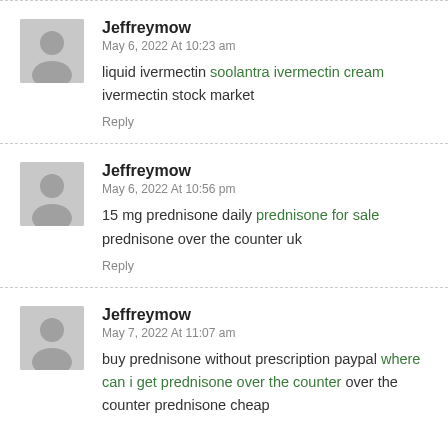Jeffreymow
May 6, 2022 At 10:23 am
liquid ivermectin soolantra ivermectin cream ivermectin stock market
Reply
Jeffreymow
May 6, 2022 At 10:56 pm
15 mg prednisone daily prednisone for sale prednisone over the counter uk
Reply
Jeffreymow
May 7, 2022 At 11:07 am
buy prednisone without prescription paypal where can i get prednisone over the counter over the counter prednisone cheap